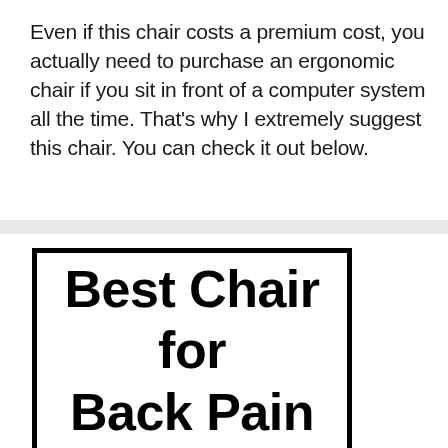Even if this chair costs a premium cost, you actually need to purchase an ergonomic chair if you sit in front of a computer system all the time. That's why I extremely suggest this chair. You can check it out below.
[Figure (other): Bordered box containing bold text reading 'Best Chair for Back Pain']